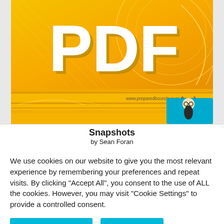[Figure (screenshot): PDF banner with orange/yellow gradient background showing large white 3D letters 'PDF', with decorative swirling lines. Below it shows 'Snapshots by Sean Foran' text and a cartoon character illustration on a blue background. A small URL 'www.preparedbounds.com.au' is visible.]
We use cookies on our website to give you the most relevant experience by remembering your preferences and repeat visits. By clicking "Accept All", you consent to the use of ALL the cookies. However, you may visit "Cookie Settings" to provide a controlled consent.
Cookie Settings
Accept All